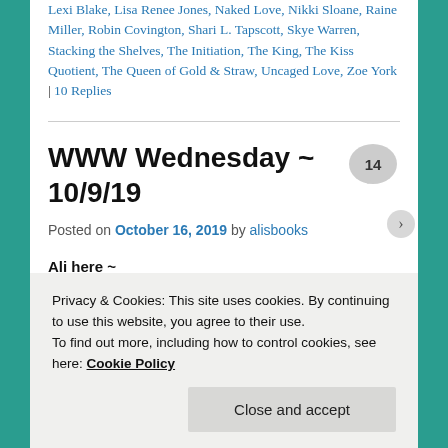Lexi Blake, Lisa Renee Jones, Naked Love, Nikki Sloane, Raine Miller, Robin Covington, Shari L. Tapscott, Skye Warren, Stacking the Shelves, The Initiation, The King, The Kiss Quotient, The Queen of Gold & Straw, Uncaged Love, Zoe York | 10 Replies
WWW Wednesday ~ 10/9/19
Posted on October 16, 2019 by alisbooks
Ali here ~
Privacy & Cookies: This site uses cookies. By continuing to use this website, you agree to their use. To find out more, including how to control cookies, see here: Cookie Policy